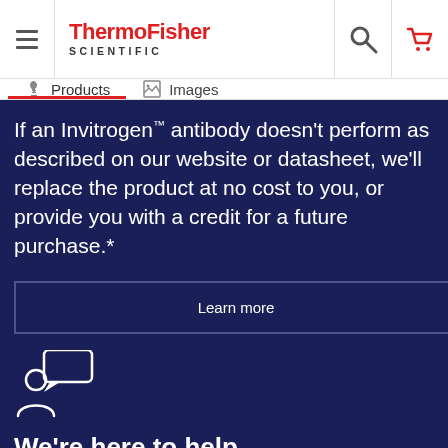[Figure (logo): ThermoFisher Scientific logo with hamburger menu, search and cart icons in header]
Products | Images navigation tabs
If an Invitrogen™ antibody doesn't perform as described on our website or datasheet, we'll replace the product at no cost to you, or provide you with a credit for a future purchase.*
Learn more
[Figure (illustration): Person with speech bubble icon]
We're here to help
Get expert recommendations for common